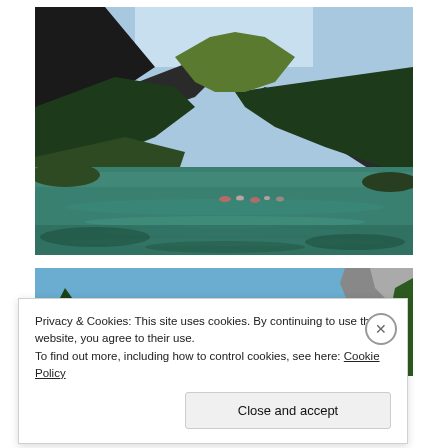[Figure (photo): Mountain alpine lake surrounded by forested mountain slopes and rocky peaks. Clear blue-green water with people swimming in the distance. Blue sky visible above the mountains.]
[Figure (photo): Partial view of another mountain lake scene with blue sky, trees and a rocky peak visible at the right edge.]
Privacy & Cookies: This site uses cookies. By continuing to use this website, you agree to their use.
To find out more, including how to control cookies, see here: Cookie Policy
Close and accept